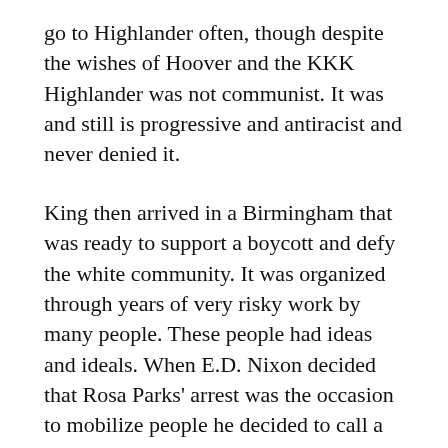go to Highlander often, though despite the wishes of Hoover and the KKK Highlander was not communist. It was and still is progressive and antiracist and never denied it.
King then arrived in a Birmingham that was ready to support a boycott and defy the white community. It was organized through years of very risky work by many people. These people had ideas and ideals. When E.D. Nixon decided that Rosa Parks' arrest was the occasion to mobilize people he decided to call a meeting at King's church. From some accounts King was